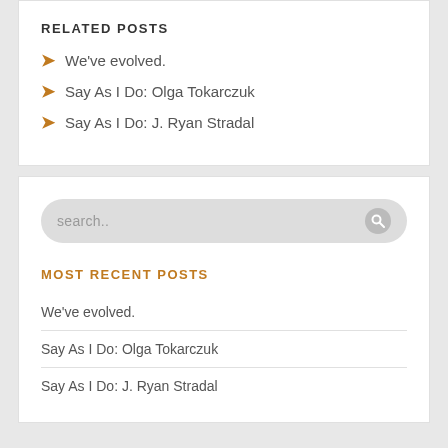RELATED POSTS
We've evolved.
Say As I Do: Olga Tokarczuk
Say As I Do: J. Ryan Stradal
search..
MOST RECENT POSTS
We've evolved.
Say As I Do: Olga Tokarczuk
Say As I Do: J. Ryan Stradal